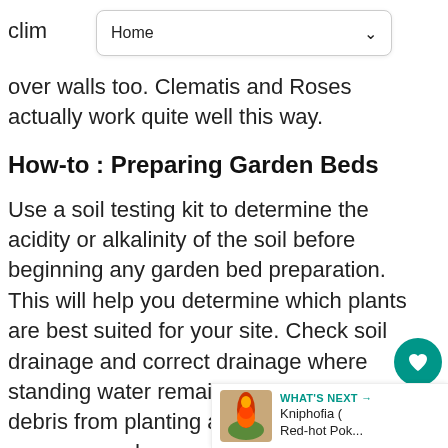Home
clim over walls too. Clematis and Roses actually work quite well this way.
How-to : Preparing Garden Beds
Use a soil testing kit to determine the acidity or alkalinity of the soil before beginning any garden bed preparation. This will help you determine which plants are best suited for your site. Check soil drainage and correct drainage where standing water remains. Clear weeds and debris from planting areas and continue to remove weeds as soon as they come.
A week to 10 days before planting, add 2 to 4
[Figure (other): What's Next widget showing Kniphofia (Red-hot Pok...) thumbnail with teal and red flower image]
[Figure (other): Social sharing overlay with heart icon (count: 1) and share icon in teal circles]